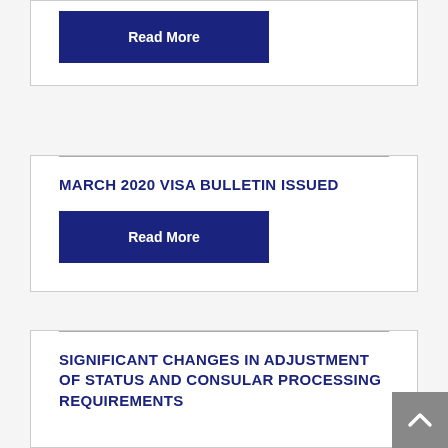Read More
MARCH 2020 VISA BULLETIN ISSUED
Read More
SIGNIFICANT CHANGES IN ADJUSTMENT OF STATUS AND CONSULAR PROCESSING REQUIREMENTS